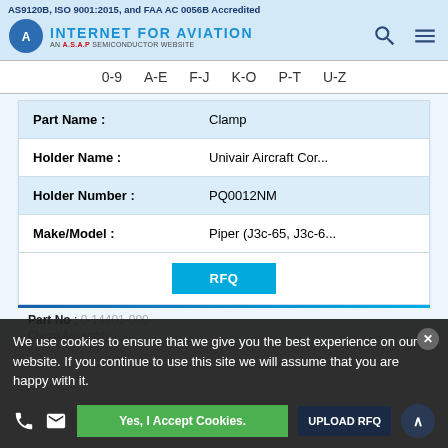AS9120B, ISO 9001:2015, and FAA AC 0056B Accredited — Internet For Aviation, An A.S.A.P Semiconductor Website
0-9  A-E  F-J  K-O  P-T  U-Z
| Field | Value |
| --- | --- |
| Part Name : | Clamp |
| Holder Name : | Univair Aircraft Cor... |
| Holder Number : | PQ0012NM |
| Make/Model : | Piper (J3c-65, J3c-6... |
|  | RFQ |
Part No :  0-14401-000
Clamp Assembly
We use cookies to ensure that we give you the best experience on our website. If you continue to use this site we will assume that you are happy with it.
Yes, I Accept Cookies.   UPLOAD RFQ